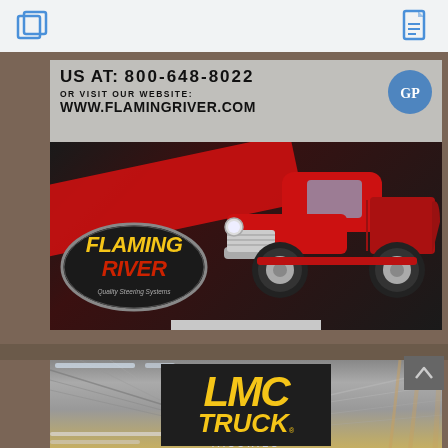[Figure (screenshot): Browser top bar with a parallelogram/page icon on the left and a document icon on the right, on a light gray background]
[Figure (photo): Flaming River advertisement showing a classic red 1954 Chevrolet truck, the Flaming River logo (Quality Steering Systems), phone number, and website www.flamingriver.com with a LEARN MORE button]
OR VISIT OUR WEBSITE:
WWW.FLAMINGRIVER.COM
LEARN MORE
[Figure (photo): LMC Truck advertisement showing a warehouse interior with ceiling lights and structural beams, with LMC TRUCK logo in yellow on dark background, and partial text '...SORIES' at bottom]